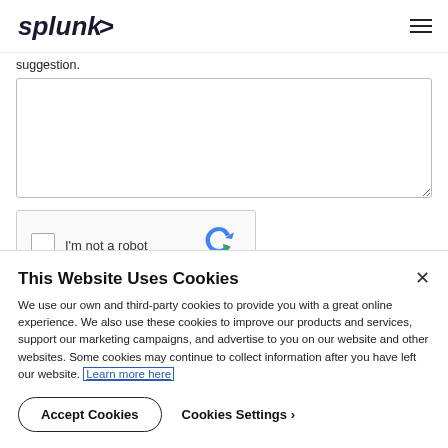[Figure (logo): Splunk logo with italic text and angled bracket]
suggestion.
[Figure (screenshot): Empty textarea input field]
[Figure (screenshot): reCAPTCHA widget with checkbox labeled I'm not a robot]
This Website Uses Cookies
We use our own and third-party cookies to provide you with a great online experience. We also use these cookies to improve our products and services, support our marketing campaigns, and advertise to you on our website and other websites. Some cookies may continue to collect information after you have left our website. Learn more here
Accept Cookies   Cookies Settings ›